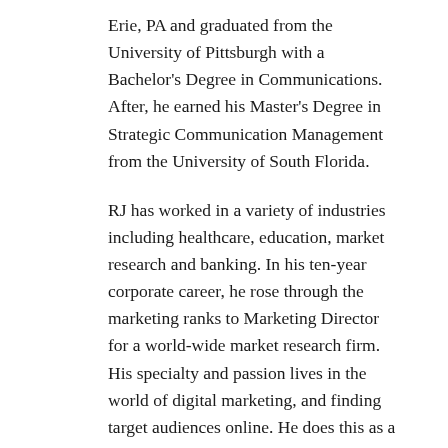Erie, PA and graduated from the University of Pittsburgh with a Bachelor's Degree in Communications. After, he earned his Master's Degree in Strategic Communication Management from the University of South Florida.
RJ has worked in a variety of industries including healthcare, education, market research and banking. In his ten-year corporate career, he rose through the marketing ranks to Marketing Director for a world-wide market research firm. His specialty and passion lives in the world of digital marketing, and finding target audiences online. He does this as a Google Ads certified marketer, and through paid advertising on social media channels.
A lifelong volunteer and business mentor, he served on the Board of Directors for The University of Pittsburgh's Tampa Bay Alumni Chapter as Vice President. Currently, RJ sits on the Board of Directors